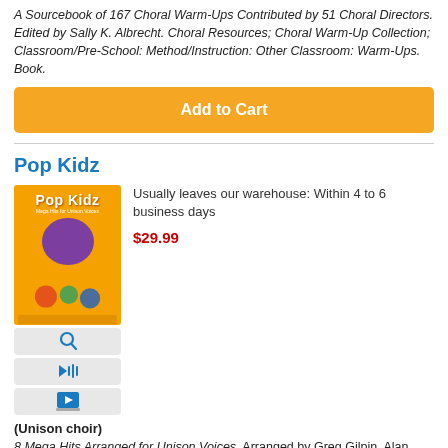A Sourcebook of 167 Choral Warm-Ups Contributed by 51 Choral Directors. Edited by Sally K. Albrecht. Choral Resources; Choral Warm-Up Collection; Classroom/Pre-School: Method/Instruction: Other Classroom: Warm-Ups. Book.
Add to Cart
Pop Kidz
[Figure (illustration): Book cover for Pop Kidz showing colorful cartoon characters with a purple disc/headphone motif on an orange background]
[Figure (other): Magnifying glass icon button]
[Figure (other): Speaker/audio icon button]
[Figure (other): Video/play icon button]
Usually leaves our warehouse: Within 4 to 6 business days
$29.99
(Unison choir)
8 Mega Hits Arranged for Unison Voices. Arranged by Greg Gilpin, Alan Billingsley, and Andy Beck. This edition: Teacher's Handbook (100%